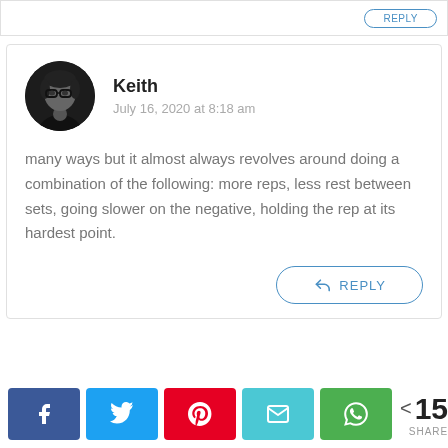[Figure (screenshot): Top portion of a previous comment card with a REPLY button (partially visible)]
Keith
July 16, 2020 at 8:18 am
many ways but it almost always revolves around doing a combination of the following: more reps, less rest between sets, going slower on the negative, holding the rep at its hardest point.
REPLY
153 SHARES